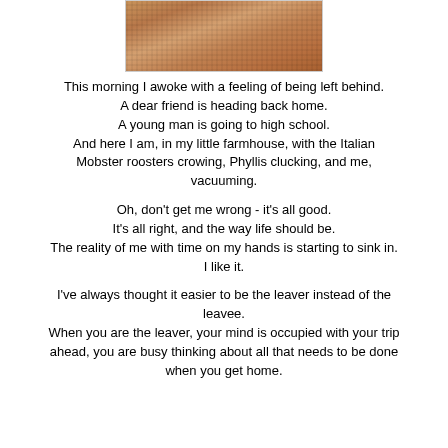[Figure (photo): Close-up photo of what appears to be a textured fabric or woven material in warm tan/brown tones, partially cropped at the top of the page]
This morning I awoke with a feeling of being left behind.
A dear friend is heading back home.
A young man is going to high school.
And here I am, in my little farmhouse, with the Italian Mobster roosters crowing, Phyllis clucking, and me, vacuuming.
Oh, don't get me wrong - it's all good.
It's all right, and the way life should be.
The reality of me with time on my hands is starting to sink in.
I like it.
I've always thought it easier to be the leaver instead of the leavee.
When you are the leaver, your mind is occupied with your trip ahead, you are busy thinking about all that needs to be done when you get home.